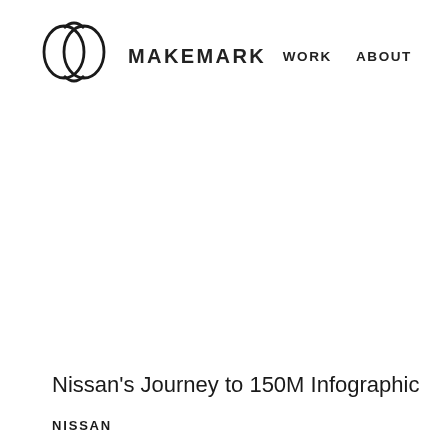MAKEMARK   WORK   ABOUT
[Figure (logo): Makemark logo: two overlapping circle-like shapes forming an abstract interlocking figure, outlined in black]
Nissan's Journey to 150M Infographic
NISSAN